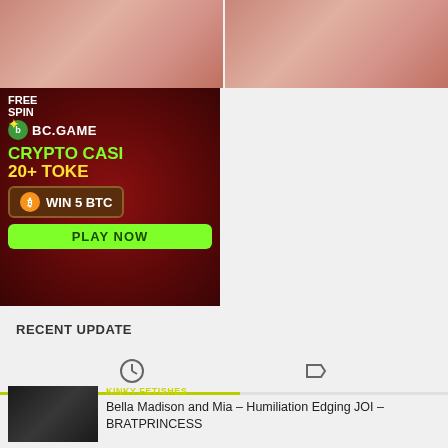[Figure (photo): Two side-by-side adult content thumbnail images with pink/skin tones]
[Figure (photo): BC.GAME crypto casino advertisement banner showing FREE SPIN, BC.GAME logo, CRYPTO CASINO, 20+ TOKENS, WIN 5 BTC, PLAY NOW]
RECENT UPDATE
[Figure (infographic): Tab navigation row with clock icon and tag icon, with yellow-green active underline]
KINKY FETISHES
Bella Madison and Mia – Humiliation Edging JOI – BRATPRINCESS